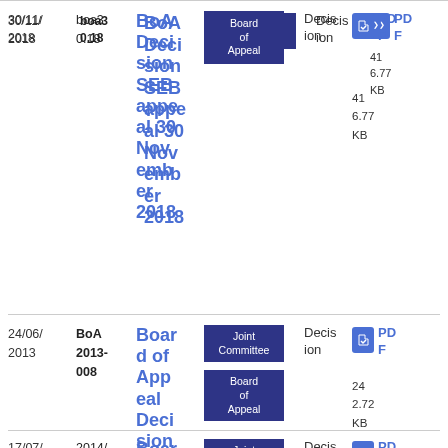| Date | Reference | Title | Tags | Type | File |
| --- | --- | --- | --- | --- | --- |
| 30/11/2018 | boa3 0.18 | BoA Decision SEB appeal 30 November 2018 | Board of Appeal | Decision | PDF 41 6.77 KB |
| 24/06/2013 | BoA 2013-008 | Board of Appeal Decision | Joint Committee, Board of Appeal | Decision | PDF 24 2.72 KB |
| 17/07/2014 | 2014/C1/02 | Board of Appeal... | Joint Committee, Board... | Decision | PDF |